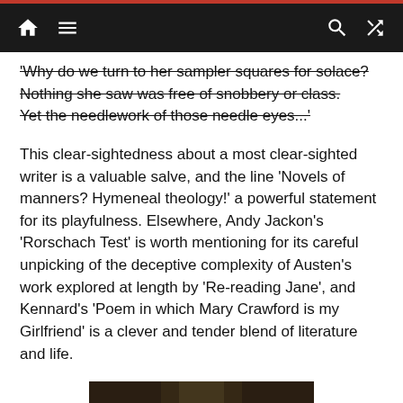Navigation bar with home, menu, search, and shuffle icons
'Why do we turn to her sampler squares for solace? Nothing she saw was free of snobbery or class. Yet the needlework of those needle eyes...'
This clear-sightedness about a most clear-sighted writer is a valuable salve, and the line 'Novels of manners? Hymeneal theology!' a powerful statement for its playfulness. Elsewhere, Andy Jackon's 'Rorschach Test' is worth mentioning for its careful unpicking of the deceptive complexity of Austen's work explored at length by 'Re-reading Jane', and Kennard's 'Poem in which Mary Crawford is my Girlfriend' is a clever and tender blend of literature and life.
[Figure (photo): A classical painting showing two women with dark hair against a dark background, appearing to be a historical portrait]